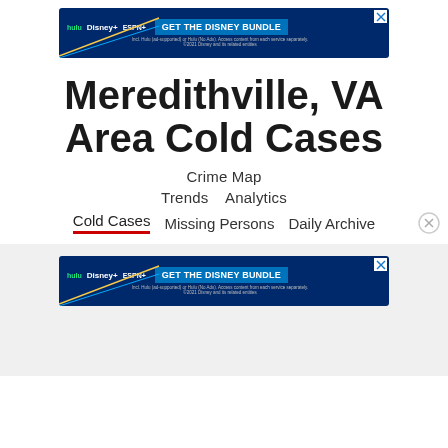[Figure (other): Disney Bundle advertisement banner with Hulu, Disney+, ESPN+ logos and 'GET THE DISNEY BUNDLE' call to action]
Meredithville, VA Area Cold Cases
Crime Map
Trends   Analytics
Cold Cases   Missing Persons   Daily Archive
[Figure (other): Disney Bundle advertisement banner (repeated) with Hulu, Disney+, ESPN+ logos and 'GET THE DISNEY BUNDLE' call to action]